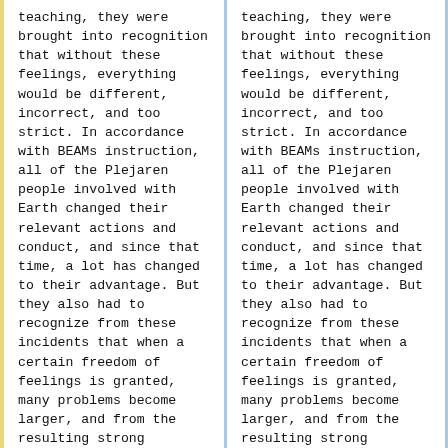teaching, they were brought into recognition that without these feelings, everything would be different, incorrect, and too strict. In accordance with BEAMs instruction, all of the Plejaren people involved with Earth changed their relevant actions and conduct, and since that time, a lot has changed to their advantage. But they also had to recognize from these incidents that when a certain freedom of feelings is granted, many problems become larger, and from the resulting strong
teaching, they were brought into recognition that without these feelings, everything would be different, incorrect, and too strict. In accordance with BEAMs instruction, all of the Plejaren people involved with Earth changed their relevant actions and conduct, and since that time, a lot has changed to their advantage. But they also had to recognize from these incidents that when a certain freedom of feelings is granted, many problems become larger, and from the resulting strong